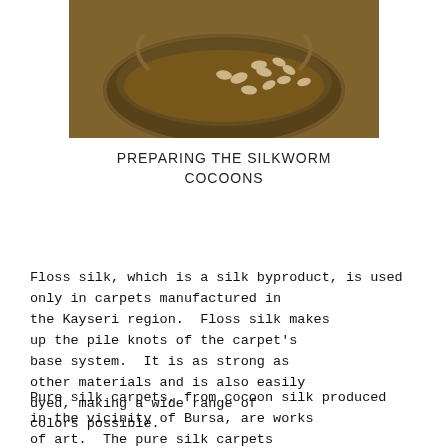[Figure (photo): Photograph of silkworm cocoons being prepared in a large round vessel or tray, sepia/warm toned image.]
PREPARING THE SILKWORM COCOONS
Floss silk, which is a silk byproduct, is used only in carpets manufactured in the Kayseri region. Floss silk makes up the pile knots of the carpet's base system. It is as strong as other materials and is also easily dyed, making a wide range of colors possible.
Pure silk carpets, from cocoon silk produced in the vicinity of Bursa, are works of art. The pure silk carpets from the region of Hereke are considered matchless. Those from